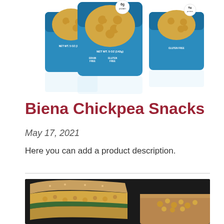[Figure (photo): Three teal/blue bags of Biena Chickpea Snacks with chickpeas visible, reflected on white surface. Bags show '6g protein', 'NET WT. 5 OZ (142g)', 'GRAIN FREE', 'GLUTEN FREE' labels.]
Biena Chickpea Snacks
May 17, 2021
Here you can add a product description.
[Figure (photo): Close-up photo of a chickpea salad sandwich on whole wheat bread with greens, next to a small portion of chickpea salad on a wooden board, on a dark background.]